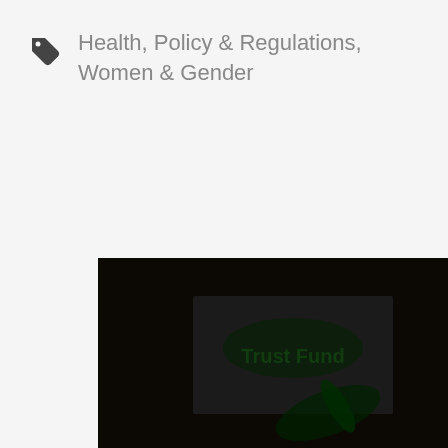Health, Policy & Regulations, Women & Gender
[Figure (photo): Dark photograph showing a hand pointing at a card or sign that reads 'Trust Fund', set against a dark wooden background. The image has a green-tinted glow effect.]
[Figure (logo): Partial dark image at the bottom showing what appears to be a logo or emblem with a bird/eagle silhouette.]